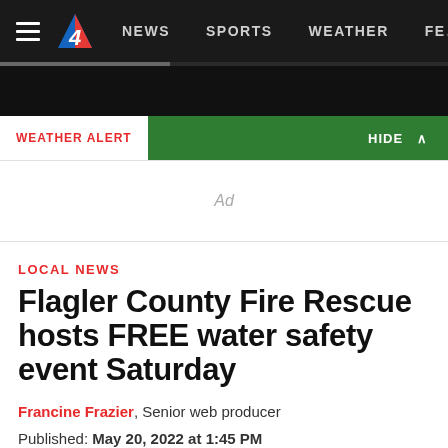NEWS  SPORTS  WEATHER  FEA...
WEATHER ALERT   HIDE ^
Ad
LOCAL NEWS
Flagler County Fire Rescue hosts FREE water safety event Saturday
Francine Frazier, Senior web producer
Published: May 20, 2022 at 1:45 PM